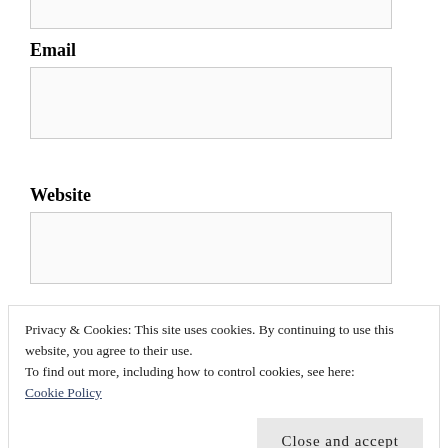[Input box — top, cut off]
Email
[Email input box]
Website
[Website input box]
POST COMMENT
Privacy & Cookies: This site uses cookies. By continuing to use this website, you agree to their use.
To find out more, including how to control cookies, see here:
Cookie Policy
Close and accept